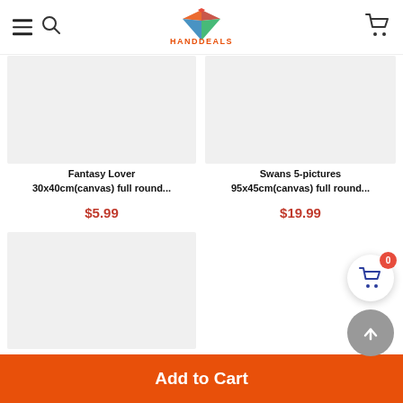HANDDEALS navigation bar with hamburger menu, search, logo, and cart
[Figure (photo): Product image placeholder for Fantasy Lover - grey rectangle]
Fantasy Lover
30x40cm(canvas) full round...
$5.99
[Figure (photo): Product image placeholder for Swans 5-pictures - grey rectangle]
Swans 5-pictures
95x45cm(canvas) full round...
$19.99
[Figure (photo): Product image placeholder (third product) - grey rectangle]
[Figure (photo): Product image placeholder (fourth product) - empty grey area]
Add to Cart